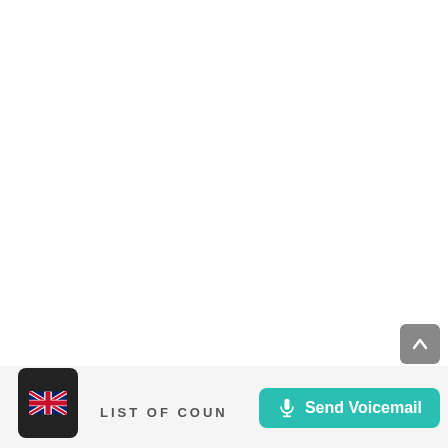[Figure (screenshot): White blank area taking up most of the page]
[Figure (screenshot): UK flag icon in dark rounded rectangle box at bottom left]
LIST OF COUN
[Figure (other): Send Voicemail button in teal with microphone icon]
[Figure (other): Scroll up arrow button in grey at bottom right above Send Voicemail]